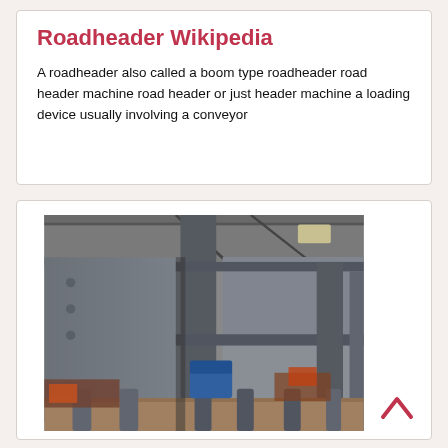Roadheader Wikipedia
A roadheader also called a boom type roadheader road header machine road header or just header machine a loading device usually involving a conveyor
[Figure (photo): Industrial photograph of a large heavy steel structure with vertical columns and horizontal beams inside a warehouse or factory building. A blue vehicle is visible in the background beneath the steel framework.]